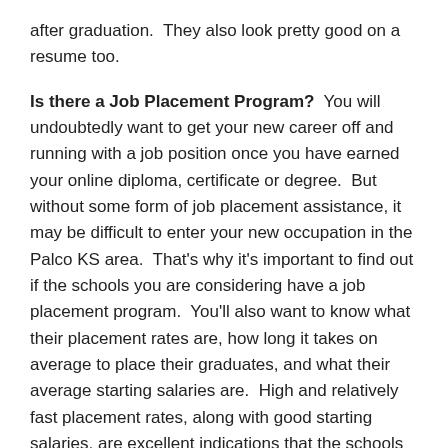after graduation.  They also look pretty good on a resume too.
Is there a Job Placement Program?  You will undoubtedly want to get your new career off and running with a job position once you have earned your online diploma, certificate or degree.  But without some form of job placement assistance, it may be difficult to enter your new occupation in the Palco KS area.  That's why it's important to find out if the schools you are considering have a job placement program.  You'll also want to know what their placement rates are, how long it takes on average to place their graduates, and what their average starting salaries are.  High and relatively fast placement rates, along with good starting salaries, are excellent indications that the schools have good relationships with large networks of employers.  It also indicates that their graduates are highly in demand.